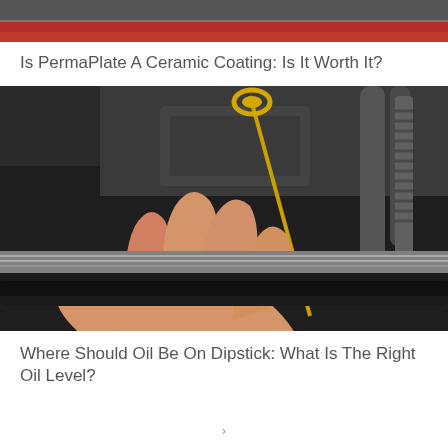[Figure (photo): Partial view of a red car body, cropped at the top of the page]
Is PermaPlate A Ceramic Coating: Is It Worth It?
[Figure (photo): A hand pulling a yellow oil dipstick from a car engine bay with various hoses and engine components visible]
Where Should Oil Be On Dipstick: What Is The Right Oil Level?